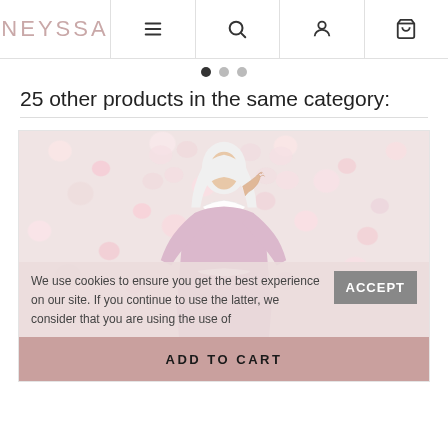NEYSSA | navigation bar with menu, search, account, cart icons
25 other products in the same category:
[Figure (photo): Product photo of a woman wearing a light pink abaya/dress with white lace collar, white hijab, and white drawstring belt, standing in front of a floral wall background. A cookie consent overlay reads: We use cookies to ensure you get the best experience on our site. If you continue to use the latter, we consider that you are using the use of — with an ACCEPT button. An ADD TO CART bar at the bottom.]